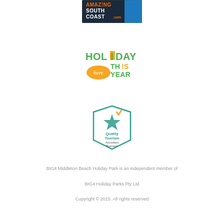[Figure (logo): Amazing South Coast .com logo — dark coastal photo with orange and white text]
[Figure (logo): Holiday Here This Year logo — green and yellow text with Australia map outline]
[Figure (logo): Quality Tourism Accredited Business badge — teal hexagon badge with green star and gold checkmark]
BIG4 Middleton Beach Holiday Park is an independent member of BIG4 Holiday Parks Pty Ltd
Copyright © 2015. All rights reserved